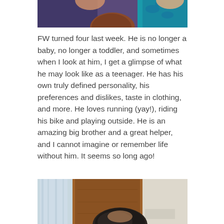[Figure (photo): Partial top photo showing two people, one in a blue shark-print shirt]
FW turned four last week. He is no longer a baby, no longer a toddler, and sometimes when I look at him, I get a glimpse of what he may look like as a teenager. He has his own truly defined personality, his preferences and dislikes, taste in clothing, and more. He loves running (yay!), riding his bike and playing outside. He is an amazing big brother and a great helper, and I cannot imagine or remember life without him. It seems so long ago!
[Figure (photo): Partial bottom photo showing a child's head near a bathroom with curtain and wooden furniture]